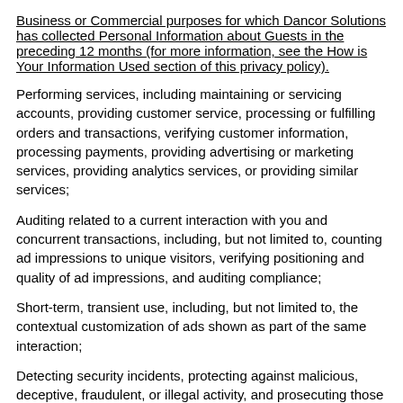Business or Commercial purposes for which Dancor Solutions has collected Personal Information about Guests in the preceding 12 months (for more information, see the How is Your Information Used section of this privacy policy).
Performing services, including maintaining or servicing accounts, providing customer service, processing or fulfilling orders and transactions, verifying customer information, processing payments, providing advertising or marketing services, providing analytics services, or providing similar services;
Auditing related to a current interaction with you and concurrent transactions, including, but not limited to, counting ad impressions to unique visitors, verifying positioning and quality of ad impressions, and auditing compliance;
Short-term, transient use, including, but not limited to, the contextual customization of ads shown as part of the same interaction;
Detecting security incidents, protecting against malicious, deceptive, fraudulent, or illegal activity, and prosecuting those responsible for that activity;
Debugging to identify and repair errors that impair existing intended functionality;